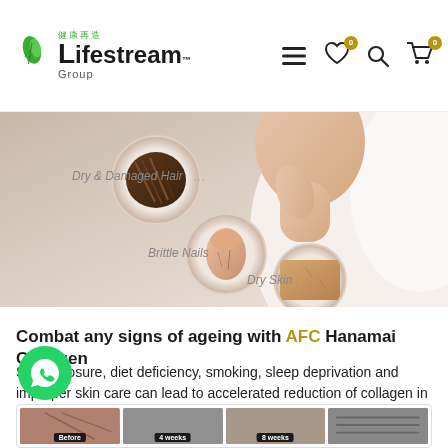Lifestream Group – navigation bar with logo, hamburger menu, wishlist (0), search, and cart (0)
[Figure (photo): Marketing image showing a woman touching her neck/face, with circular insets labeling collagen-deficiency symptoms: Dry & Damaged Hair, Brittle Nails, Dry Skin]
Combat any signs of ageing with AFC Hanamai Collagen
Sun exposure, diet deficiency, smoking, sleep deprivation and improper skin care can lead to accelerated reduction of collagen in your body. With age, the collagen in the body breaks down leading to wrinkles and lack of firmness and other visible signs of ageing. AFC Hanamai Collagen (Fish) helps you to keep the skin looking firm and youthful
[Figure (photo): Before and after comparison strip showing skin improvement at Before, 4 weeks, 8 weeks, and a fourth stage]